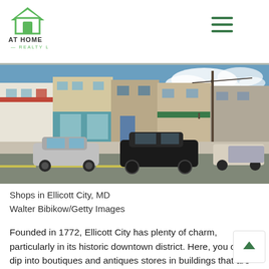AT HOME REALTY LLC
[Figure (photo): Street-level photograph of shops in Ellicott City, MD. Colorful storefronts with awnings, parked cars along a main street, utility poles, and blue sky with clouds visible.]
Shops in Ellicott City, MD
Walter Bibikow/Getty Images
Founded in 1772, Ellicott City has plenty of charm, particularly in its historic downtown district. Here, you can dip into boutiques and antiques stores in buildings that are pretty much antiques themselves.
But that doesn't mean this place is stuck in the past. Its top-rated schools attract young families, and its affordable housing and access to two major metropolises